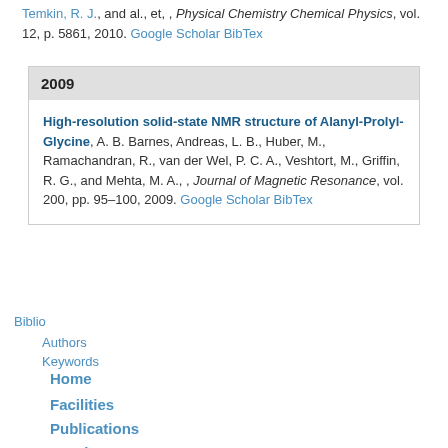Temkin, R. J., and al., et, , Physical Chemistry Chemical Physics, vol. 12, p. 5861, 2010. Google Scholar BibTex
2009
High-resolution solid-state NMR structure of Alanyl-Prolyl-Glycine, A. B. Barnes, Andreas, L. B., Huber, M., Ramachandran, R., van der Wel, P. C. A., Veshtort, M., Griffin, R. G., and Mehta, M. A., , Journal of Magnetic Resonance, vol. 200, pp. 95–100, 2009. Google Scholar BibTex
Biblio
Authors
Keywords
Home
Facilities
Publications
Members